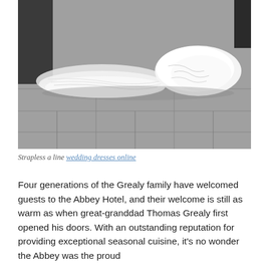[Figure (photo): Black and white photograph showing the bottom hem and train of a white strapless a-line wedding dress pooling on a grey tiled floor, with a dark-suited figure partially visible on the left.]
Strapless a line wedding dresses online
Four generations of the Grealy family have welcomed guests to the Abbey Hotel, and their welcome is still as warm as when great-granddad Thomas Grealy first opened his doors. With an outstanding reputation for providing exceptional seasonal cuisine, it's no wonder the Abbey was the proud